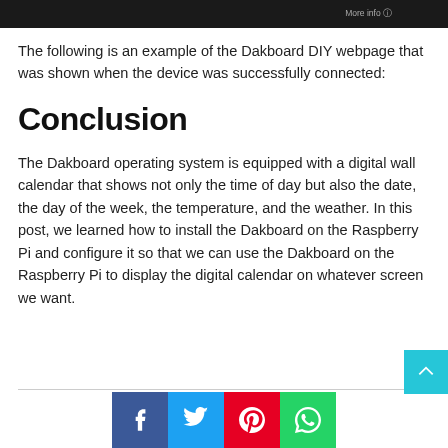[Figure (screenshot): Dark navigation bar with 'More info' link and circle icon on right side]
The following is an example of the Dakboard DIY webpage that was shown when the device was successfully connected:
Conclusion
The Dakboard operating system is equipped with a digital wall calendar that shows not only the time of day but also the date, the day of the week, the temperature, and the weather. In this post, we learned how to install the Dakboard on the Raspberry Pi and configure it so that we can use the Dakboard on the Raspberry Pi to display the digital calendar on whatever screen we want.
[Figure (infographic): Social share buttons: Facebook (blue), Twitter (light blue), Pinterest (red), WhatsApp (green)]